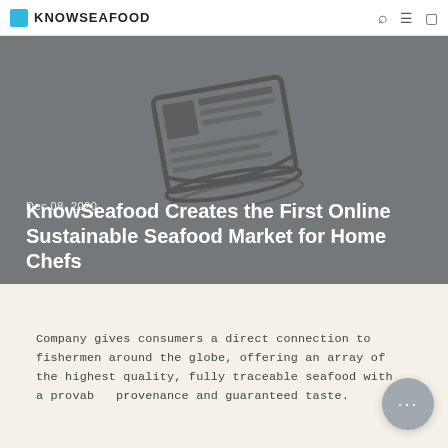KNOWSEAFOOD
[Figure (illustration): Newspaper/scroll icon illustration in gray on a gray-blue background hero image]
Dec 08, 2020
KnowSeafood Creates the First Online Sustainable Seafood Market for Home Chefs
Company gives consumers a direct connection to fishermen around the globe, offering an array of the highest quality, fully traceable seafood with a provable provenance and guaranteed taste.